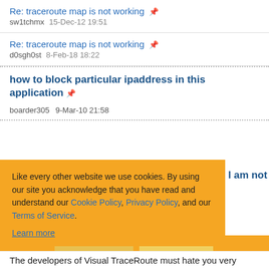Re: traceroute map is not working
sw1tchmx   15-Dec-12 19:51
Re: traceroute map is not working
d0sgh0st   8-Feb-18 18:22
how to block particular ipaddress in this application
boarder305   9-Mar-10 21:58
l am not seeing
Like every other website we use cookies. By using our site you acknowledge that you have read and understand our Cookie Policy, Privacy Policy, and our Terms of Service.
Learn more
Ask me later  Decline  Allow cookies
The developers of Visual TraceRoute must hate you very